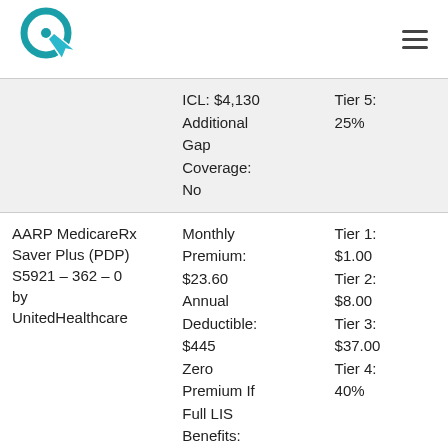Logo and navigation header
| Plan | Details | Tiers |
| --- | --- | --- |
|  | ICL: $4,130
Additional Gap Coverage: No | Tier 5: 25% |
| AARP MedicareRx Saver Plus (PDP) S5921 – 362 – 0 by UnitedHealthcare | Monthly Premium: $23.60
Annual Deductible: $445
Zero Premium If Full LIS Benefits: Y... | Tier 1: $1.00
Tier 2: $8.00
Tier 3: $37.00
Tier 4: 40% |